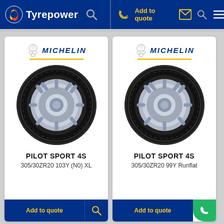Tyrepower — Add to quote
[Figure (photo): Michelin Pilot Sport 4S tyre product card, left: 305/30ZR20 103Y (N0) XL]
PILOT SPORT 4S
305/30ZR20 103Y (N0) XL
[Figure (photo): Michelin Pilot Sport 4S tyre product card, right: 305/30ZR20 99Y Runflat]
PILOT SPORT 4S
305/30ZR20 99Y Runflat